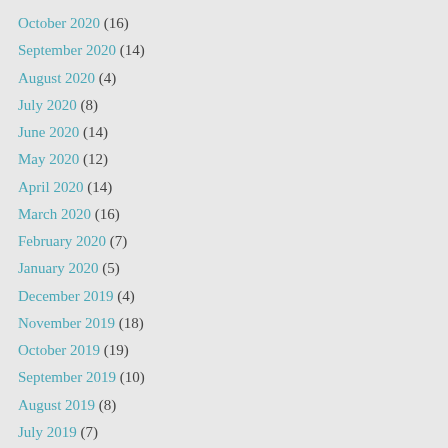October 2020 (16)
September 2020 (14)
August 2020 (4)
July 2020 (8)
June 2020 (14)
May 2020 (12)
April 2020 (14)
March 2020 (16)
February 2020 (7)
January 2020 (5)
December 2019 (4)
November 2019 (18)
October 2019 (19)
September 2019 (10)
August 2019 (8)
July 2019 (7)
June 2019 (6)
May 2019 (11)